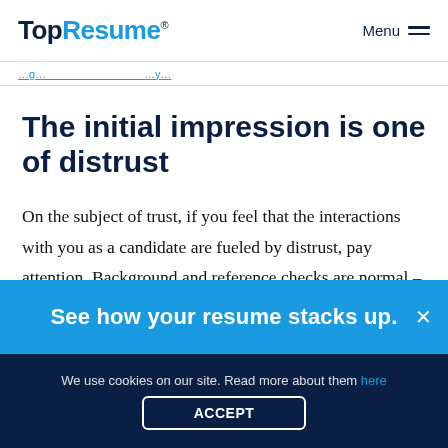TopResume® | Menu
The initial impression is one of distrust
On the subject of trust, if you feel that the interactions with you as a candidate are fueled by distrust, pay attention. Background and reference checks are normal – in fact, I would be suspicious of any company that is quick to extend an offer
See how your resume stacks up.
We use cookies on our site. Read more about them here
ACCEPT